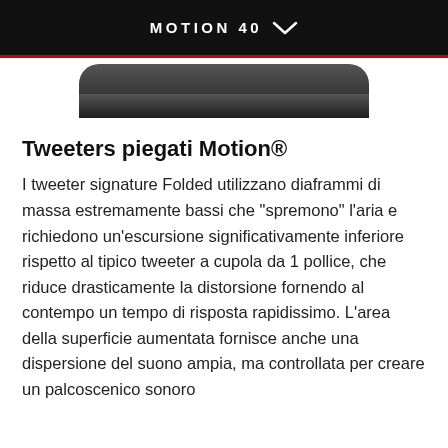MOTION 40
[Figure (photo): Bottom portion of a rounded rectangular device (speaker) with dark textured surface, shown against white background]
Tweeters piegati Motion®
I tweeter signature Folded utilizzano diaframmi di massa estremamente bassi che "spremono" l'aria e richiedono un'escursione significativamente inferiore rispetto al tipico tweeter a cupola da 1 pollice, che riduce drasticamente la distorsione fornendo al contempo un tempo di risposta rapidissimo. L'area della superficie aumentata fornisce anche una dispersione del suono ampia, ma controllata per creare un palcoscenico sonoro